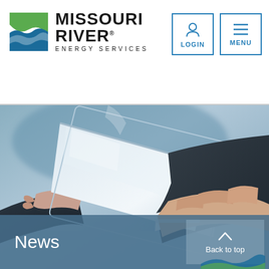[Figure (logo): Missouri River Energy Services logo with wave/river icon, text MISSOURI RIVER ENERGY SERVICES]
[Figure (other): LOGIN and MENU navigation buttons with icons in blue outlined boxes]
[Figure (photo): Business person in suit holding a tablet device, blurred close-up photo with blue/grey tones]
News
[Figure (other): Back to top button with upward chevron arrow]